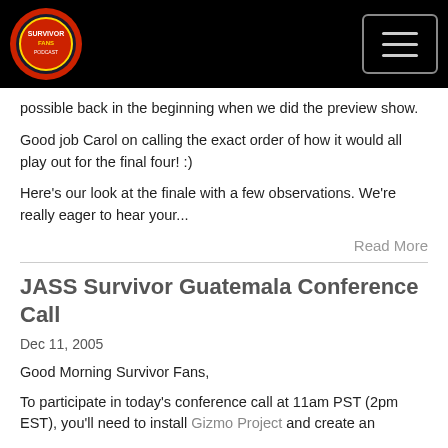Survivor Fans Podcast
possible back in the beginning when we did the preview show.
Good job Carol on calling the exact order of how it would all play out for the final four! :)
Here's our look at the finale with a few observations. We're really eager to hear your...
Read More
JASS Survivor Guatemala Conference Call
Dec 11, 2005
Good Morning Survivor Fans,
To participate in today's conference call at 11am PST (2pm EST), you'll need to install Gizmo Project and create an